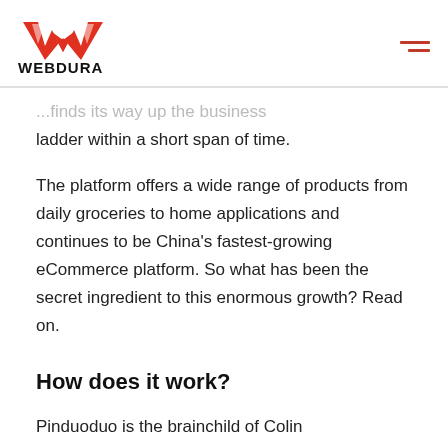WEBDURA
...finds its way up the business ladder within a short span of time.
The platform offers a wide range of products from daily groceries to home applications and continues to be China's fastest-growing eCommerce platform. So what has been the secret ingredient to this enormous growth? Read on.
How does it work?
Pinduoduo is the brainchild of Colin